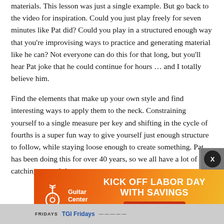materials. This lesson was just a single example. But go back to the video for inspiration. Could you just play freely for seven minutes like Pat did? Could you play in a structured enough way that you're improvising ways to practice and generating material like he can? Not everyone can do this for that long, but you'll hear Pat joke that he could continue for hours … and I totally believe him.
Find the elements that make up your own style and find interesting ways to apply them to the neck. Constraining yourself to a single measure per key and shifting in the cycle of fourths is a super fun way to give yourself just enough structure to follow, while staying loose enough to create something. Pat has been doing this for over 40 years, so we all have a lot of catching up to do!
[Figure (infographic): Guitar Center advertisement. Red to orange gradient background. Guitar Center logo on the left with a white guitar icon. Text reads 'KICK OFF LABOR DAY WITH SAVINGS' in large white bold uppercase letters. A red 'Shop Now' button below the text. A dark close button with an X in the upper right corner.]
[Figure (infographic): Bottom banner showing TGI Fridays logo and branding strip in grey/blue tones.]